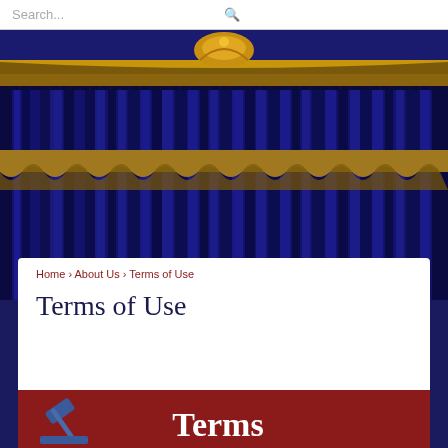Search...
[Figure (photo): Blue stage curtain with gold fringe and ornate gold cornice at top]
Home › About Us › Terms of Use
Terms of Use
[Figure (illustration): Dark red banner with gavel icon on left and large white text reading 'Terms']